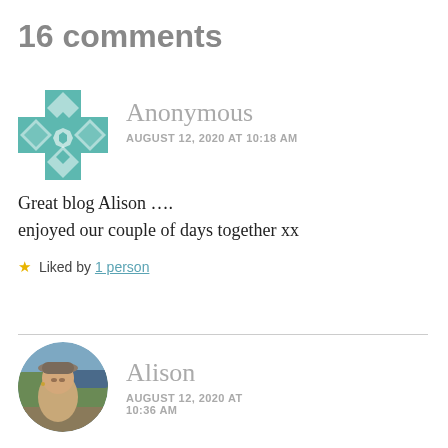16 comments
Anonymous
AUGUST 12, 2020 AT 10:18 AM
Great blog Alison …. enjoyed our couple of days together xx
★ Liked by 1 person
Alison
AUGUST 12, 2020 AT
10:36 AM